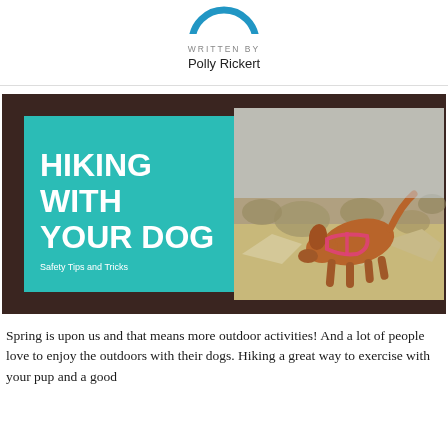[Figure (logo): Circular blue logo at the top center of the page, partially visible]
WRITTEN BY
Polly Rickert
[Figure (photo): Article hero image with dark brown background. Left half shows a teal/turquoise rectangle with bold white text 'HIKING WITH YOUR DOG' and subtitle 'Safety Tips and Tricks'. Right half shows a brown dog wearing a pink harness on a rocky desert trail.]
Spring is upon us and that means more outdoor activities! And a lot of people love to enjoy the outdoors with their dogs. Hiking a great way to exercise with your pup and a good